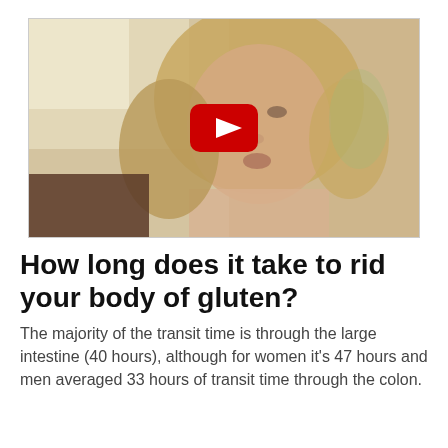[Figure (screenshot): Video thumbnail showing a middle-aged woman with blonde hair being interviewed, with a YouTube play button overlay in the center]
How long does it take to rid your body of gluten?
The majority of the transit time is through the large intestine (40 hours), although for women it's 47 hours and men averaged 33 hours of transit time through the colon.